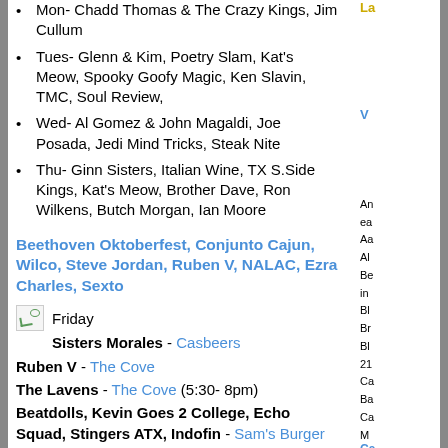Mon- Chadd Thomas & The Crazy Kings, Jim Cullum
Tues- Glenn & Kim, Poetry Slam, Kat's Meow, Spooky Goofy Magic, Ken Slavin, TMC, Soul Review,
Wed- Al Gomez & John Magaldi, Joe Posada, Jedi Mind Tricks, Steak Nite
Thu- Ginn Sisters, Italian Wine, TX S.Side Kings, Kat's Meow, Brother Dave, Ron Wilkens, Butch Morgan, Ian Moore
Beethoven Oktoberfest, Conjunto Cajun, Wilco, Steve Jordan, Ruben V, NALAC, Ezra Charles, Sexto
Friday
Sisters Morales - Casbeers
Ruben V - The Cove
The Lavens - The Cove (5:30- 8pm)
Beatdolls, Kevin Goes 2 College, Echo Squad, Stingers ATX, Indofin - Sam's Burger Joint
The Kat's Meow - 2703 Bridle Path, Corner of Bridle Path & Exposition
Sixth Annual National Conference of the National Association of Latino Art and Culture (NALAC).
Participating Artists: Ricky Armendariz, Raul Castellanos III, Rita Maria Contreras, Jose Cosme, Juan Farias, Jorge